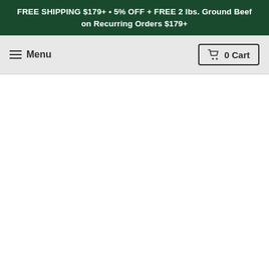FREE SHIPPING $179+ • 5% OFF + FREE 2 lbs. Ground Beef on Recurring Orders $179+
Menu  0 Cart